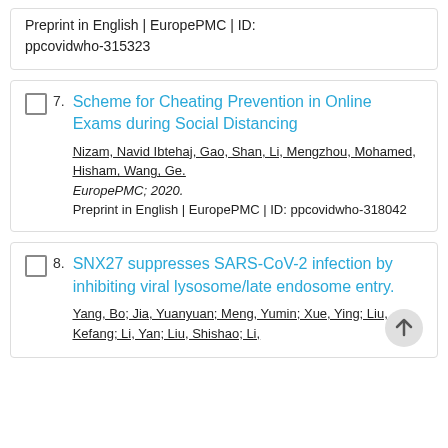Preprint in English | EuropePMC | ID: ppcovidwho-315323
7. Scheme for Cheating Prevention in Online Exams during Social Distancing
Nizam, Navid Ibtehaj, Gao, Shan, Li, Mengzhou, Mohamed, Hisham, Wang, Ge.
EuropePMC; 2020.
Preprint in English | EuropePMC | ID: ppcovidwho-318042
8. SNX27 suppresses SARS-CoV-2 infection by inhibiting viral lysosome/late endosome entry.
Yang, Bo; Jia, Yuanyuan; Meng, Yumin; Xue, Ying; Liu, Kefang; Li, Yan; Liu, Shishao; Li,